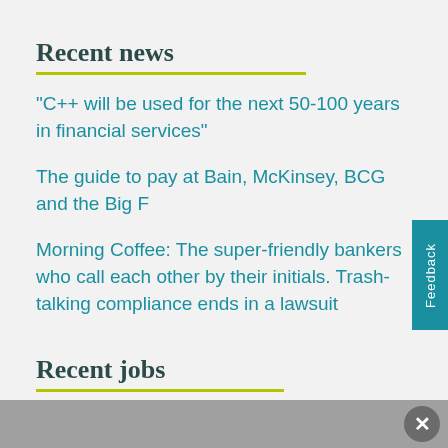Recent news
"C++ will be used for the next 50-100 years in financial services"
The guide to pay at Bain, McKinsey, BCG and the Big F…
Morning Coffee: The super-friendly bankers who call each other by their initials. Trash-talking compliance ends in a lawsuit
Recent jobs
Compliance Officer - Investment Banking
Equity Analyst Opportunity (Junior): London-based Industrials Hedge Fund